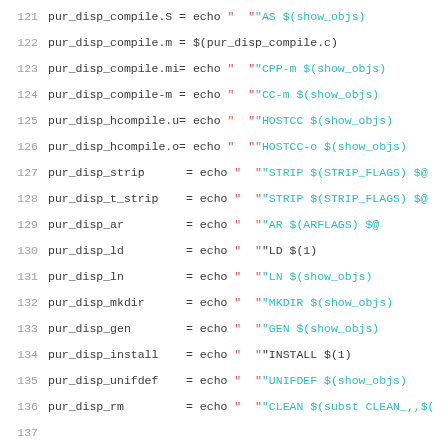[Figure (screenshot): Source code listing lines 121-143 showing Makefile variable assignments for pur_disp_* and sil_disp_* variables with line numbers on the left, code in monospace font, with cyan colored $(variable) references and red colored quoted strings.]